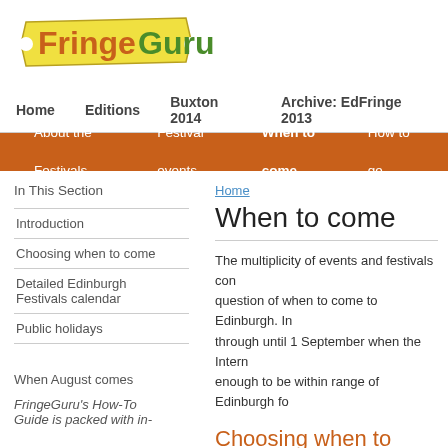[Figure (logo): FringeGuru logo with yellow ticket shape and orange/green text]
Home  Editions  Buxton 2014  Archive: EdFringe 2013
About the Festivals  Festival events  When to come  How to ge...
In This Section
Introduction
Choosing when to come
Detailed Edinburgh Festivals calendar
Public holidays
When August comes
FringeGuru's How-To Guide is packed with in-
Home
When to come
The multiplicity of events and festivals con... question of when to come to Edinburgh. In... through until 1 September when the Intern... enough to be within range of Edinburgh fo...
Choosing when to come